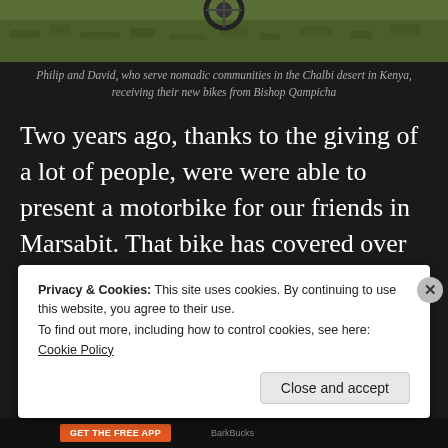[Figure (photo): Top portion of a photo showing grass ground and a motorcycle, with two people, taken outdoors in Kenya]
Philip and David, who serve nomadic communities in the Chalbi desert in Kenya, receiving their new bikes from Bishop Qampicha
Two years ago, thanks to the giving of a lot of people, were were able to present a motorbike for our friends in Marsabit. That bike has covered over 10,000 kms since then, mostly on un-made roads, so it has been well-used.
Privacy & Cookies: This site uses cookies. By continuing to use this website, you agree to their use. To find out more, including how to control cookies, see here: Cookie Policy
Close and accept